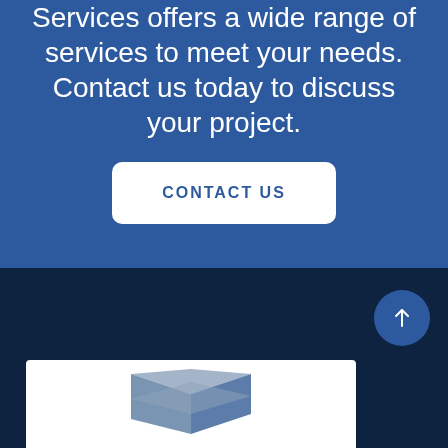Services offers a wide range of services to meet your needs. Contact us today to discuss your project.
CONTACT US
[Figure (logo): Company logo partially visible at bottom of page showing a geometric house/building icon in blue-grey tones on white background]